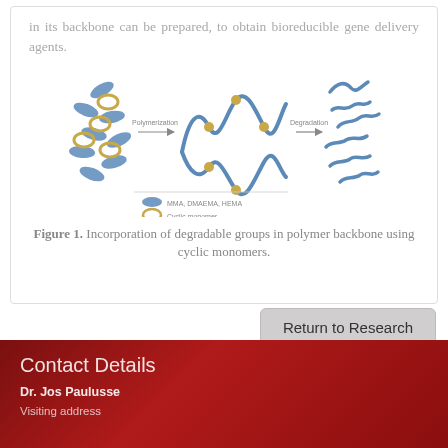in its backbone can be prepared, to obtain bioreducible gene delivery agents.
[Figure (illustration): Diagram showing polymerization and degradation process: small monomers (MMA, DMAEMA, HEMA shown as blue ovals and Cyclic monomer shown as gold rings) undergo Polymerization to form a long polymer chain with incorporated cyclic units, then Degradation breaks it into smaller fragments. Legend shows blue oval for MMA, DMAEMA, HEMA and gold ring for Cyclic monomer.]
Figure 1. Incorporation of degradable groups in polymer backbone using cyclic monomers.
Return to Research
Contact Details
Dr. Jos Paulusse
Visiting address